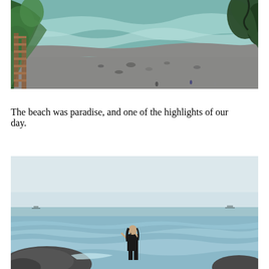[Figure (photo): Aerial view of a beach with turquoise waves, rocky shoreline, lush green trees, and wooden stairs on the left side. People are visible on the beach below.]
The beach was paradise, and one of the highlights of our day.
[Figure (photo): A woman standing in shallow ocean water on rocks, facing the sea with her hand raised to her head, with a hazy sky and distant ships visible on the horizon.]